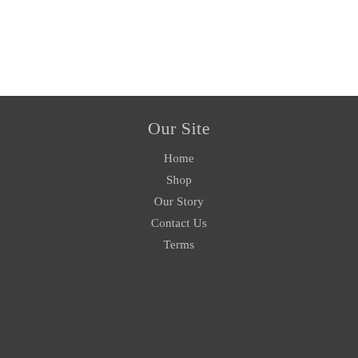Our Site
Home
Shop
Our Story
Contact Us
Terms